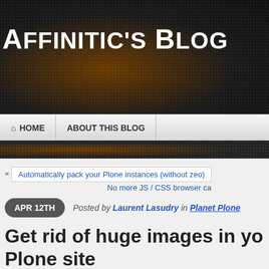Affinitic's Blog
Let's t
HOME  ABOUT THIS BLOG
« Automatically pack your Plone instances (without zeo)
No more JS / CSS browser ca
APR 12TH  Posted by Laurent Lasudry in Planet Plone
Get rid of huge images in yo… Plone site